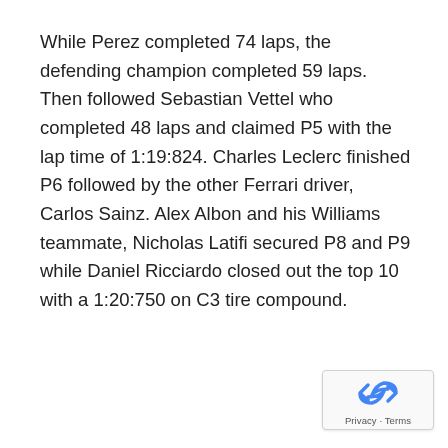While Perez completed 74 laps, the defending champion completed 59 laps. Then followed Sebastian Vettel who completed 48 laps and claimed P5 with the lap time of 1:19:824. Charles Leclerc finished P6 followed by the other Ferrari driver, Carlos Sainz. Alex Albon and his Williams teammate, Nicholas Latifi secured P8 and P9 while Daniel Ricciardo closed out the top 10 with a 1:20:750 on C3 tire compound.
[Figure (logo): Google reCAPTCHA badge with recycling arrow icon and Privacy · Terms text]